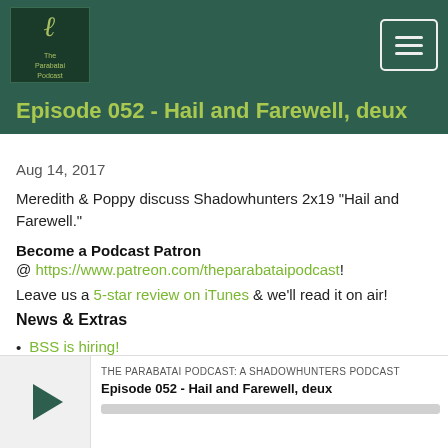The Parabatai Podcast
Episode 052 - Hail and Farewell, deux
Aug 14, 2017
Meredith & Poppy discuss Shadowhunters 2x19 "Hail and Farewell."
Become a Podcast Patron
@ https://www.patreon.com/theparabataipodcast!
Leave us a 5-star review on iTunes & we'll read it on air!
News & Extras
BSS is hiring!
We designed Shadowhunters t-shirts & partnered with CraftsbyCasaverde on Etsy - grab one...
Read More
THE PARABATAI PODCAST: A SHADOWHUNTERS PODCAST
Episode 052 - Hail and Farewell, deux